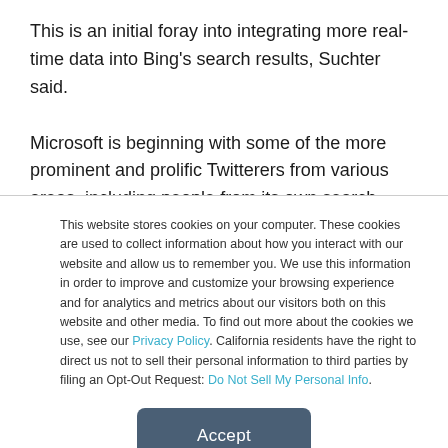This is an initial foray into integrating more real-time data into Bing's search results, Suchter said.

Microsoft is beginning with some of the more prominent and prolific Twitterers from various areas, including people from its own search technology and business sphere, such as Danny Sullivan; journalist Kara Swisher of “All Things D”; and
This website stores cookies on your computer. These cookies are used to collect information about how you interact with our website and allow us to remember you. We use this information in order to improve and customize your browsing experience and for analytics and metrics about our visitors both on this website and other media. To find out more about the cookies we use, see our Privacy Policy. California residents have the right to direct us not to sell their personal information to third parties by filing an Opt-Out Request: Do Not Sell My Personal Info.
Accept